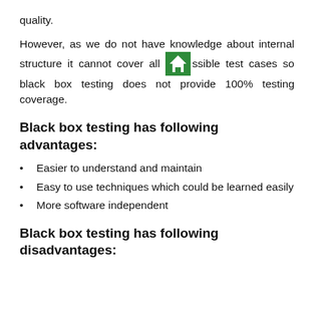quality.
However, as we do not have knowledge about internal structure it cannot cover all possible test cases so black box testing does not provide 100% testing coverage.
Black box testing has following advantages:
Easier to understand and maintain
Easy to use techniques which could be learned easily
More software independent
Black box testing has following disadvantages: